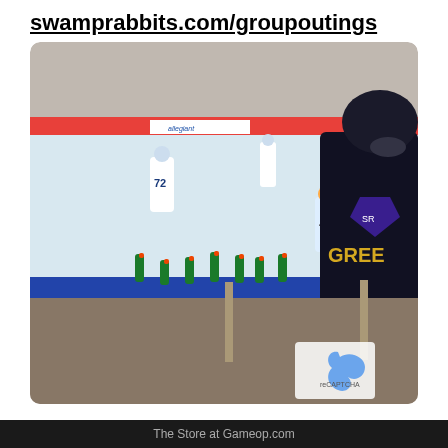swamprabbits.com/groupoutings
[Figure (photo): A hockey player in a black Greenville Swamp Rabbits jersey wearing a helmet and gloves leans over the boards to interact with youth hockey players in white helmets and jerseys who are reaching up toward him. Multiple green and orange water bottles line the boards. In the background, other players skate on the ice rink with an Allegiant advertisement banner visible. A watermark with a recycling-style icon is visible in the bottom-right corner of the photo.]
The Store at Gameop.com